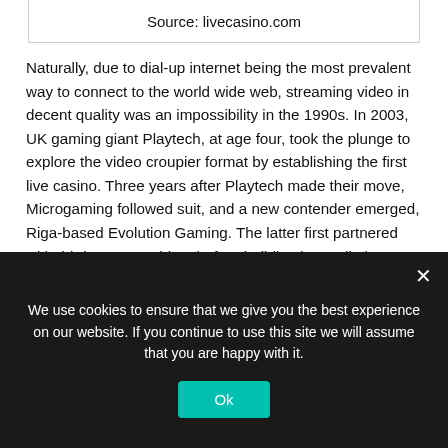Source: livecasino.com
Naturally, due to dial-up internet being the most prevalent way to connect to the world wide web, streaming video in decent quality was an impossibility in the 1990s. In 2003, UK gaming giant Playtech, at age four, took the plunge to explore the video croupier format by establishing the first live casino. Three years after Playtech made their move, Microgaming followed suit, and a new contender emerged, Riga-based Evolution Gaming. The latter first partnered with third-party providers before building its studio in 2009. Over the years, it has opened multiple ones in many countries across Europe and North America and
We use cookies to ensure that we give you the best experience on our website. If you continue to use this site we will assume that you are happy with it.